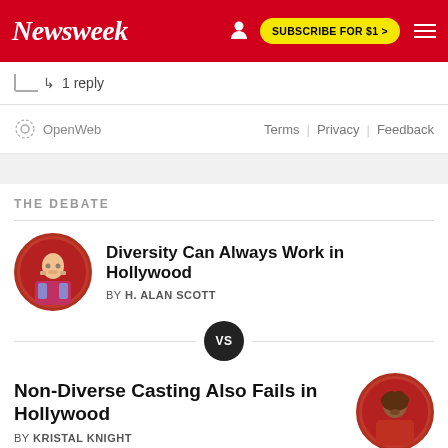Newsweek | SUBSCRIBE FOR $1 >
1 reply
OpenWeb  Terms | Privacy | Feedback
THE DEBATE
Diversity Can Always Work in Hollywood
BY H. ALAN SCOTT
VS
Non-Diverse Casting Also Fails in Hollywood
BY KRISTAL KNIGHT